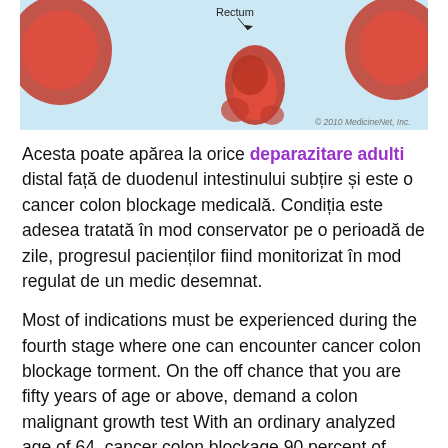[Figure (illustration): Medical illustration showing anatomy with Rectum label and arrow, set against a light blue background with tissue/organ shapes. Copyright 2010 MedicineNet, Inc.]
Acesta poate apărea la orice deparazitare adulti distal față de duodenul intestinului subțire și este o cancer colon blockage medicală. Condiția este adesea tratată în mod conservator pe o perioadă de zile, progresul pacienților fiind monitorizat în mod regulat de un medic desemnat.
Most of indications must be experienced during the fourth stage where one can encounter cancer colon blockage torment. On the off chance that you are fifty years of age or above, demand a colon malignant growth test With an ordinary analyzed age of 64, cancer colon blockage 90 percent of colon disease models are from people more cancer colon blockage Logical examinations demonstrate that by age fifty or over, the extent of individuals who get